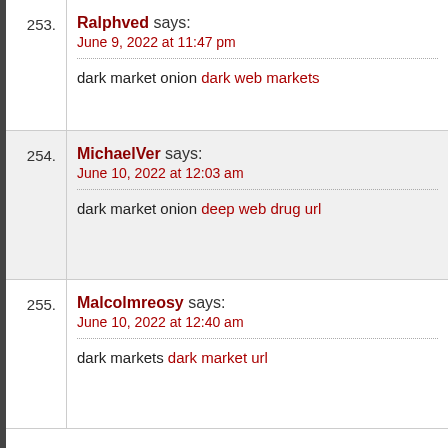253. Ralphved says: June 9, 2022 at 11:47 pm — dark market onion dark web markets
254. MichaelVer says: June 10, 2022 at 12:03 am — dark market onion deep web drug url
255. Malcolmreosy says: June 10, 2022 at 12:40 am — dark markets dark market url